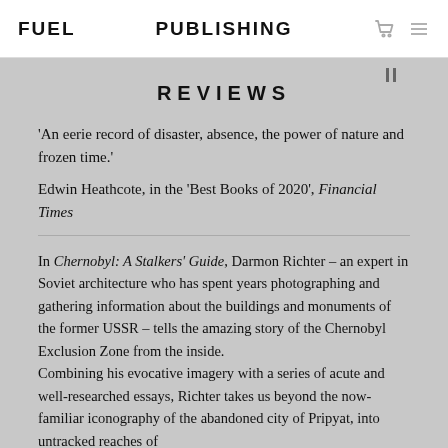FUEL   PUBLISHING
REVIEWS
‘An eerie record of disaster, absence, the power of nature and frozen time.’
Edwin Heathcote, in the ‘Best Books of 2020’, Financial Times
In Chernobyl: A Stalkers’ Guide, Darmon Richter – an expert in Soviet architecture who has spent years photographing and gathering information about the buildings and monuments of the former USSR – tells the amazing story of the Chernobyl Exclusion Zone from the inside.
Combining his evocative imagery with a series of acute and well-researched essays, Richter takes us beyond the now-familiar iconography of the abandoned city of Pripyat, into untracked reaches of